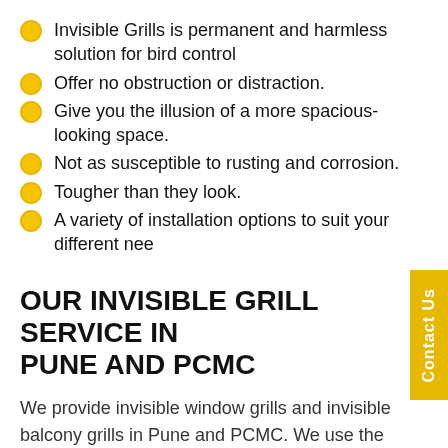Invisible Grills is permanent and harmless solution for bird control
Offer no obstruction or distraction.
Give you the illusion of a more spacious-looking space.
Not as susceptible to rusting and corrosion.
Tougher than they look.
A variety of installation options to suit your different needs.
OUR INVISIBLE GRILL SERVICE IN PUNE AND PCMC
We provide invisible window grills and invisible balcony grills in Pune and PCMC. We use the best material for the invisible grill which is manufactured with the most precision. The invisible grill not only makes your balcony secure but it also helps in bird control. Invisible grills are weatherproof, harmless for birds, easy to maintain and clean and is flexible so that can be customized according to your preferences.